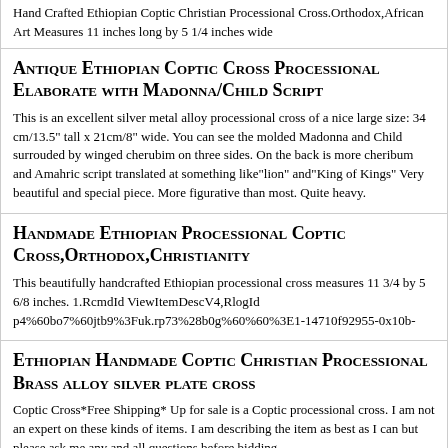Hand Crafted Ethiopian Coptic Christian Processional Cross.Orthodox,African Art Measures 11 inches long by 5 1/4 inches wide
Antique Ethiopian Coptic Cross Processional Elaborate with Madonna/Child Script
This is an excellent silver metal alloy processional cross of a nice large size: 34 cm/13.5" tall x 21cm/8" wide. You can see the molded Madonna and Child surrouded by winged cherubim on three sides. On the back is more cheribum and Amahric script translated at something like"lion" and"King of Kings" Very beautiful and special piece. More figurative than most. Quite heavy.
Handmade Ethiopian Processional Coptic Cross,Orthodox,Christianity
This beautifully handcrafted Ethiopian processional cross measures 11 3/4 by 5 6/8 inches. 1.RcmdId ViewItemDescV4,RlogId p4%60bo7%60jtb9%3Fuk.rp73%28b0g%60%60%3E1-14710f92955-0x10b-
Ethiopian Handmade Coptic Christian Processional Brass alloy silver plate cross
Coptic Cross*Free Shipping* Up for sale is a Coptic processional cross. I am not an expert on these kinds of items. I am describing the item as best as I can but please ask me any and all questions before bidding.